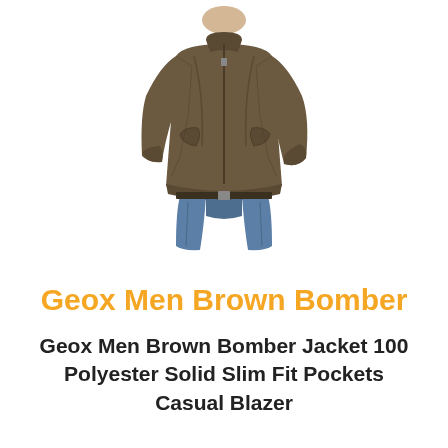[Figure (photo): A man wearing a brown bomber jacket with a stand collar, zip-up front, and side pockets, paired with blue jeans. Only the torso and upper legs are visible.]
Geox Men Brown Bomber
Geox Men Brown Bomber Jacket 100 Polyester Solid Slim Fit Pockets Casual Blazer